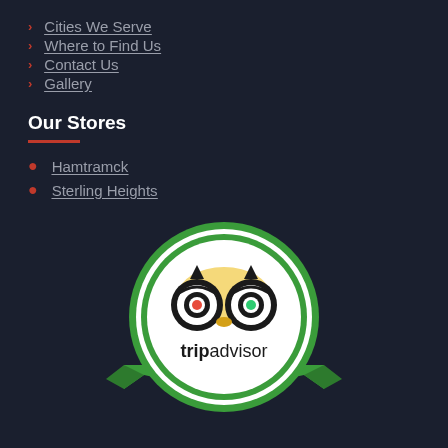Cities We Serve
Where to Find Us
Contact Us
Gallery
Our Stores
Hamtramck
Sterling Heights
[Figure (logo): TripAdvisor logo inside a circular green badge with a ribbon banner at the bottom. The owl face with red and green eyes is centered, with 'tripadvisor' text below it.]